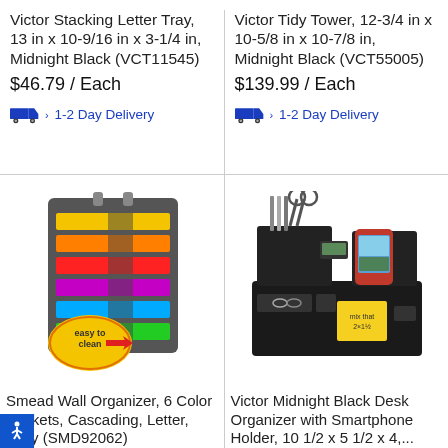Victor Stacking Letter Tray, 13 in x 10-9/16 in x 3-1/4 in, Midnight Black (VCT11545)
$46.79 / Each
› 1-2 Day Delivery
Victor Tidy Tower, 12-3/4 in x 10-5/8 in x 10-7/8 in, Midnight Black (VCT55005)
$139.99 / Each
› 1-2 Day Delivery
[Figure (photo): Smead Wall Organizer with 6 colorful cascading pockets in gray, with easy to clean label]
Smead Wall Organizer, 6 Color Pockets, Cascading, Letter, Gray (SMD92062)
[Figure (photo): Victor Midnight Black Desk Organizer with smartphone holder, scissors, pens, calculator, and sticky notes]
Victor Midnight Black Desk Organizer with Smartphone Holder, 10 1/2 x 5 1/2 x 4,...